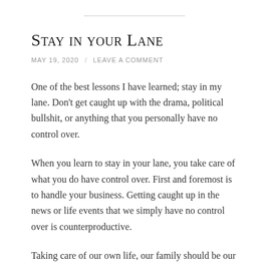Stay in your Lane
MAY 19, 2020  /  LEAVE A COMMENT
One of the best lessons I have learned; stay in my lane. Don't get caught up with the drama, political bullshit, or anything that you personally have no control over.
When you learn to stay in your lane, you take care of what you do have control over. First and foremost is to handle your business. Getting caught up in the news or life events that we simply have no control over is counterproductive.
Taking care of our own life, our family should be our